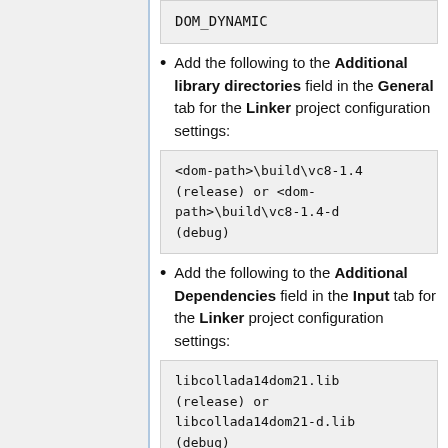DOM_DYNAMIC
Add the following to the Additional library directories field in the General tab for the Linker project configuration settings:
<dom-path>\build\vc8-1.4 (release) or <dom-path>\build\vc8-1.4-d (debug)
Add the following to the Additional Dependencies field in the Input tab for the Linker project configuration settings:
libcollada14dom21.lib (release) or libcollada14dom21-d.lib (debug)